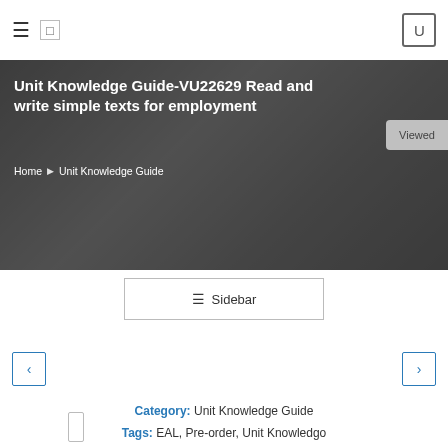≡  □  U
Unit Knowledge Guide-VU22629 Read and write simple texts for employment
Home  ▶  Unit Knowledge Guide
Viewed
≡ Sidebar
‹
›
Category: Unit Knowledge Guide
Tags: EAL, Pre-order, Unit Knowledgo